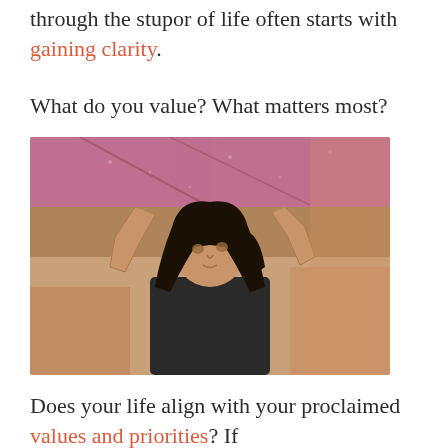through the stupor of life often starts with gaining clarity.
What do you value? What matters most?
[Figure (photo): A woman with dark hair holds a surfboard overhead with both arms raised, looking upward. She is wearing a dark t-shirt. The surfboard is pinkish-purple. The background is warm and blurred.]
Does your life align with your proclaimed values and priorities? If